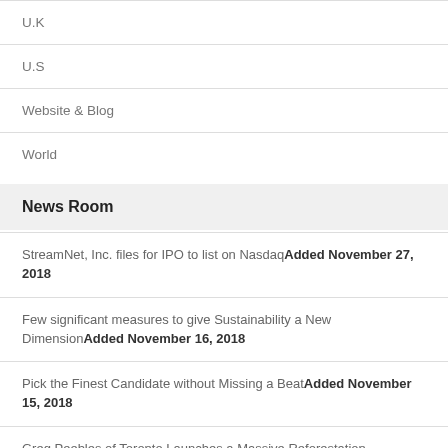U.K
U.S
Website & Blog
World
News Room
StreamNet, Inc. files for IPO to list on NasdaqAdded November 27, 2018
Few significant measures to give Sustainability a New DimensionAdded November 16, 2018
Pick the Finest Candidate without Missing a BeatAdded November 15, 2018
Greg Peebles of Toronto Launches a Massive Reforestation DriveAdded August 7, 2018
An amazing journey of returning to mother earthAdded May 29,